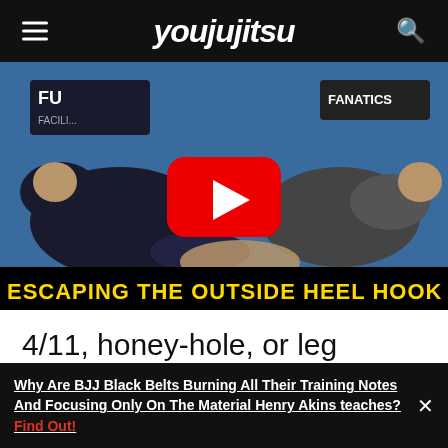youjujitsu
[Figure (screenshot): Video thumbnail showing two BJJ grapplers on a blue mat, one attempting a heel hook. A YouTube play button overlay is centered on the image. A black banner at the bottom reads 'ESCAPING THE OUTSIDE HEEL HOOK' in yellow bold text.]
4/11, honey-hole, or leg triangle
[Figure (photo): Partial photo of two men, one wearing blue, practicing a BJJ technique against a white wall.]
Why Are BJJ Black Belts Burning All Their Training Notes And Focusing Only On The Material Henry Akins teaches? Find Out!